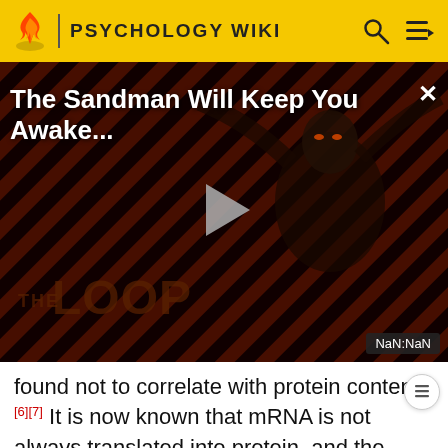PSYCHOLOGY WIKI
[Figure (screenshot): Video player thumbnail for 'The Sandman Will Keep You Awake...' from The Loop, showing a dark figure against diagonal red/black stripes, with a play button in the center and NaN:NaN timestamp.]
found not to correlate with protein content.[6][7] It is now known that mRNA is not always translated into protein, and the amount of protein produced for a given amount of mRNA depends on the gene it is transcribed from and on the current physiological state of the cell. Proteomics